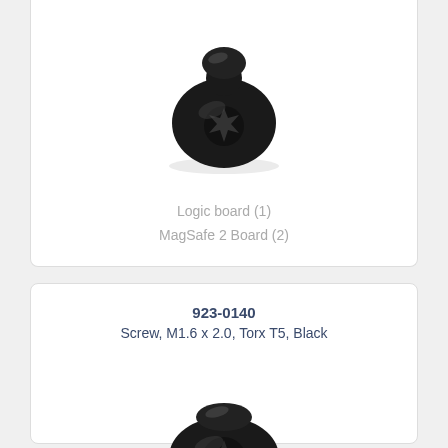Screw, M1.6 x 1.6, Torx T5, Black
[Figure (photo): Black Torx T5 screw with rounded pan head, viewed from above at slight angle]
Logic board (1)
MagSafe 2 Board (2)
923-0140
Screw, M1.6 x 2.0, Torx T5, Black
[Figure (photo): Black Torx T5 screw with flat pan head, viewed from above at slight angle]